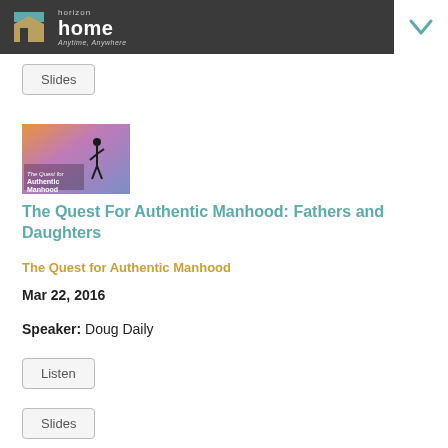horizon home Anytime, Anywhere
Slides
[Figure (illustration): Thumbnail image for 'The Quest for Authentic Manhood' series, showing a dramatic sky with a figure silhouette]
The Quest For Authentic Manhood: Fathers and Daughters
The Quest for Authentic Manhood
Mar 22, 2016
Speaker: Doug Daily
Listen
Slides